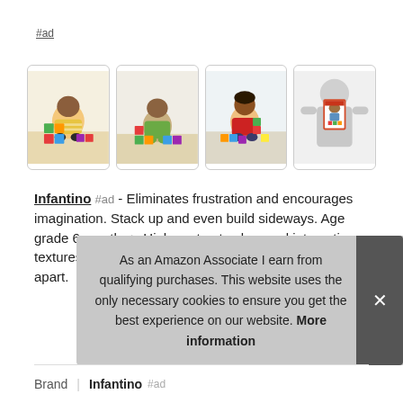#ad
[Figure (photo): Four product images of Infantino baby blocks. Three show babies/toddlers playing with colorful stacking blocks on the floor; fourth shows product packaging.]
Infantino #ad - Eliminates frustration and encourages imagination. Stack up and even build sideways. Age grade 6 months+. High contrast colors and interesting textures. 24 blocks that are easy to put together & pull apart.
As an Amazon Associate I earn from qualifying purchases. This website uses the only necessary cookies to ensure you get the best experience on our website. More information
Brand | Infantino #ad